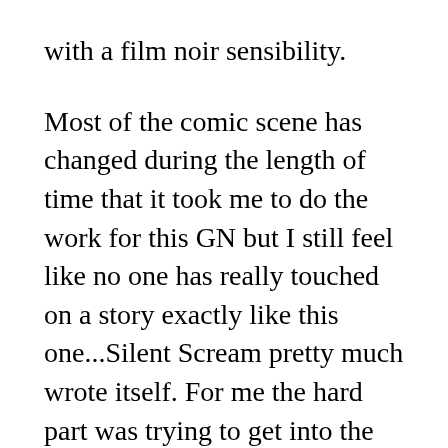with a film noir sensibility.

Most of the comic scene has changed during the length of time that it took me to do the work for this GN but I still feel like no one has really touched on a story exactly like this one...Silent Scream pretty much wrote itself. For me the hard part was trying to get into the head of each character in order to understand how they would think and speak and still be able to walk away afterwards without losing who I was. It was sort of like method acting, immersing myself so completely into each character. It became a bit scary for me at the time because I was on